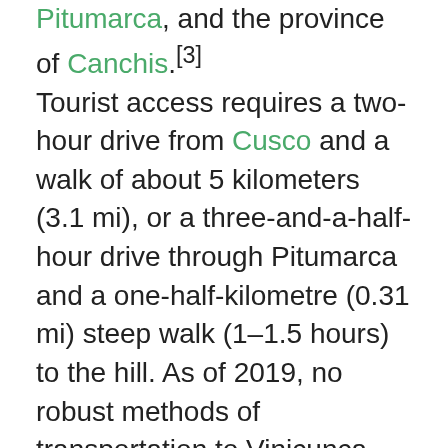Pitumarca, and the province of Canchis.[3] Tourist access requires a two-hour drive from Cusco and a walk of about 5 kilometers (3.1 mi), or a three-and-a-half-hour drive through Pitumarca and a one-half-kilometre (0.31 mi) steep walk (1–1.5 hours) to the hill. As of 2019, no robust methods of transportation to Vinicunca have been developed to accommodate travelers, as it requires passage through a valley.[4] In the middle of the 2010s, mass tourism came, attracted by the mountain's series of stripes of various colors[5] due to its mineralogical composition on the slopes and summits.[6] The